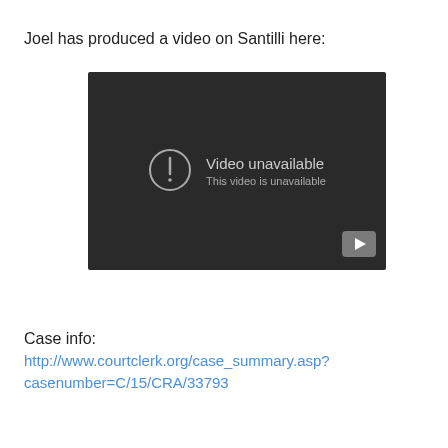Joel has produced a video on Santilli here:
[Figure (screenshot): Embedded video player showing 'Video unavailable - This video is unavailable' message with a dark background, warning circle icon, and a play button in the bottom right corner.]
Case info:
http://www.courtclerk.org/case_summary.asp?casenumber=C/15/CRA/33793